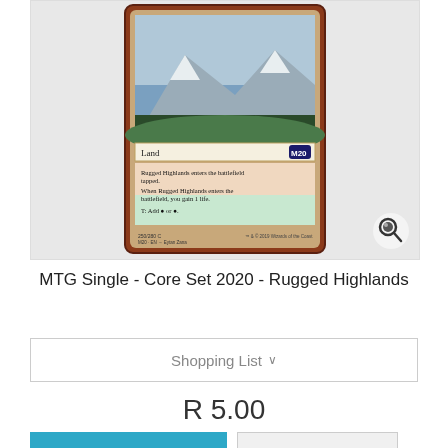[Figure (illustration): MTG card product image showing Rugged Highlands card from Core Set 2020. The card shows a mountain landscape with text about entering battlefield tapped and gaining 1 life.]
MTG Single - Core Set 2020 - Rugged Highlands
Shopping List
R 5.00
Add to cart
More
In Stock